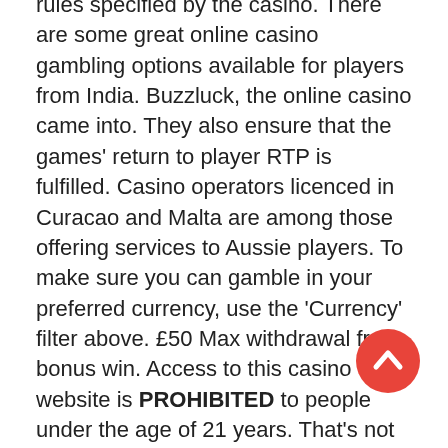rules specified by the casino. There are some great online casino gambling options available for players from India. Buzzluck, the online casino came into. They also ensure that the games' return to player RTP is fulfilled. Casino operators licenced in Curacao and Malta are among those offering services to Aussie players. To make sure you can gamble in your preferred currency, use the 'Currency' filter above. £50 Max withdrawal from bonus win. Access to this casino website is PROHIBITED to people under the age of 21 years. That's not the end though, as we'll continually go back and reassess each and every review – once every three months – to ensure that our information always stays correct and relevant. The competition between online gambling operators has prompted casinos to get more creative. Enter your email below to get the latest no deposit and free chip bonus offers. 8048/JAZ issued to Antillephone. They don't love to play local games, preferring those slots with many lights and sounds. Four separate welcome bonuses. This opportunity will be given
[Figure (other): Round red scroll-to-top button with white chevron/arrow pointing upward]